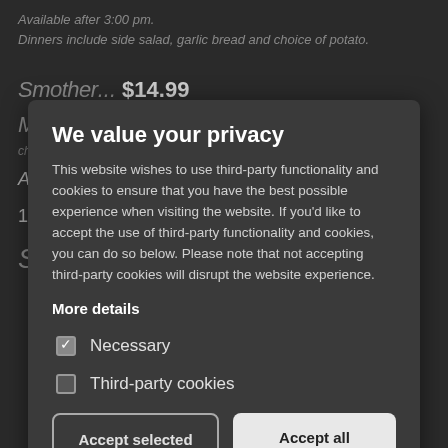Available after 3:00 pm.
Dinners include side salad, garlic bread and choice of potato.
Smother... $14.99
Medium ... Whole...
A... $7.99
16 oz. Ribeye Steak $27.99
Subs
Ham and Cheese ½ $4.99  Whole $8.99
Ham, mozzarella, lettuce a...
Pizza Sub ½ $4.99  Whole $8.99
Pizza sauce, pepperoni and mozzarella cheese
We value your privacy
This website wishes to use third-party functionality and cookies to ensure that you have the best possible experience when visiting the website. If you'd like to accept the use of third-party functionality and cookies, you can do so below. Please note that not accepting third-party cookies will disrupt the website experience.
More details
Necessary
Third-party cookies
Accept selected
Accept all